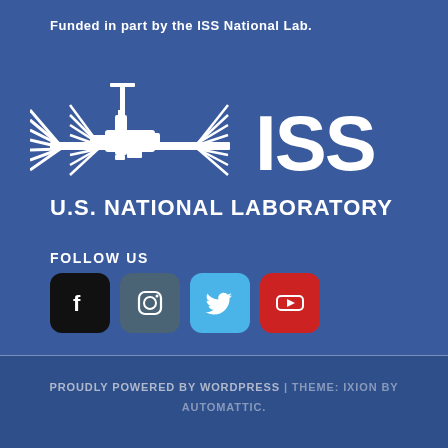Funded in part by the ISS National Lab.
[Figure (logo): ISS U.S. National Laboratory logo — stylized ISS space station silhouette in white with 'ISS' text and 'U.S. NATIONAL LABORATORY' below, on blue background]
FOLLOW US
[Figure (infographic): Four social media icon buttons: Facebook (black square), Instagram (dark teal square), Twitter (light blue square), YouTube (red square)]
PROUDLY POWERED BY WORDPRESS | THEME: IXION BY AUTOMATTIC.